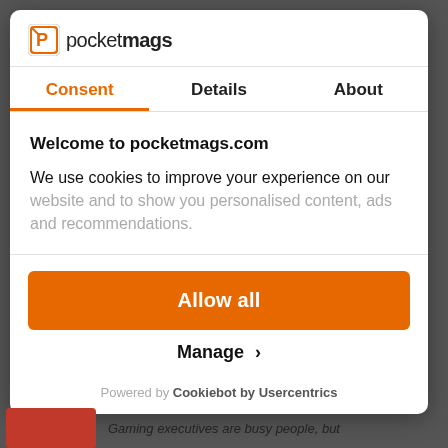[Figure (logo): Pocketmags logo with icon and text]
Consent | Details | About
Welcome to pocketmags.com
We use cookies to improve your experience on our website and to show you personalised content, ads and recommendations.
Allow all
Manage >
Powered by Cookiebot by Usercentrics
Gaming executives are busy people, but